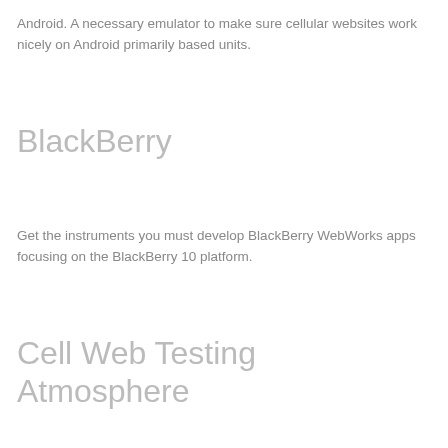Android. A necessary emulator to make sure cellular websites work nicely on Android primarily based units.
BlackBerry
Get the instruments you must develop BlackBerry WebWorks apps focusing on the BlackBerry 10 platform.
Cell Web Testing Atmosphere
MITE is a superb product for testing your cellular site on 2000+ completely different cellular units. It may also be used to watch your manufacturing cellular websites.